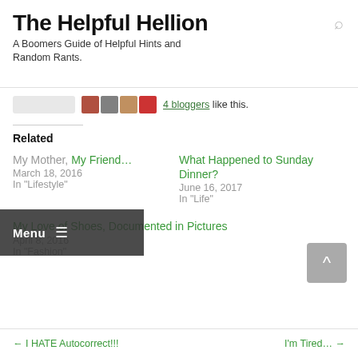The Helpful Hellion
A Boomers Guide of Helpful Hints and Random Rants.
4 bloggers like this.
Related
Menu
My Mother, My Friend...
March 18, 2016
In "Lifestyle"
What Happened to Sunday Dinner?
June 16, 2017
In "Life"
My Love of Shoes, Documented in Pictures
April 8, 2016
In "Fashion"
← I HATE Autocorrect!!!    I'm Tired... →